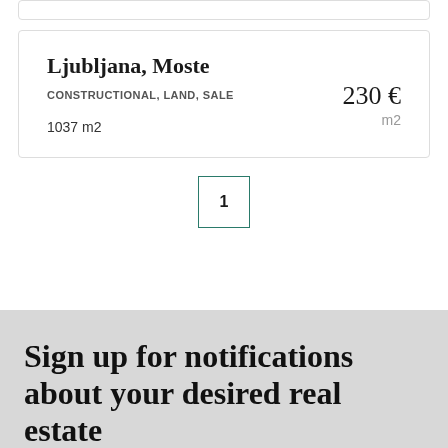Ljubljana, Moste
CONSTRUCTIONAL, LAND, SALE
1037 m2
230 € m2
1
Sign up for notifications about your desired real estate
Sign up to receive new offers that match your desired real estate